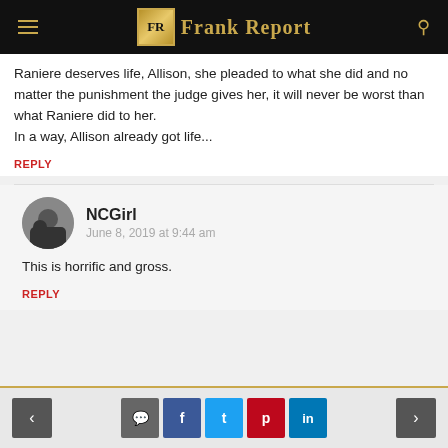Frank Report
Raniere deserves life, Allison, she pleaded to what she did and no matter the punishment the judge gives her, it will never be worst than what Raniere did to her.
In a way, Allison already got life...
REPLY
NCGirl
June 8, 2019 at 9:44 am
This is horrific and gross.
REPLY
< [comment] [f] [t] [p] [in] >